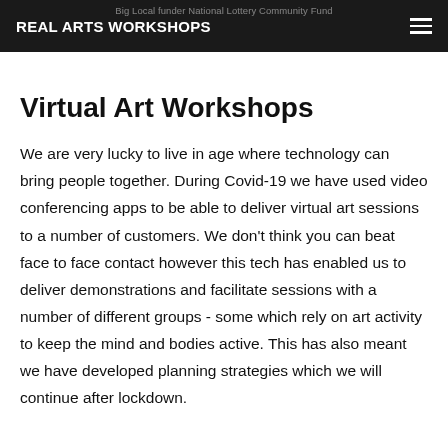REAL ARTS WORKSHOPS
Virtual Art Workshops
We are very lucky to live in age where technology can bring people together. During Covid-19 we have used video conferencing apps to be able to deliver virtual art sessions to a number of customers. We don't think you can beat face to face contact however this tech has enabled us to deliver demonstrations and facilitate sessions with a number of different groups - some which rely on art activity to keep the mind and bodies active. This has also meant we have developed planning strategies which we will continue after lockdown.